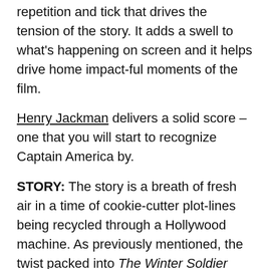repetition and tick that drives the tension of the story. It adds a swell to what's happening on screen and it helps drive home impact-ful moments of the film.
Henry Jackman delivers a solid score – one that you will start to recognize Captain America by.
STORY: The story is a breath of fresh air in a time of cookie-cutter plot-lines being recycled through a Hollywood machine. As previously mentioned, the twist packed into The Winter Soldier changes the world of the MCU drastically, and permanently. It's also a turn that no one saw coming which makes it even harder to believe – and much more dramatic. As the existing world of S.H.I.E.L.D. and the MCU starts to unravel it takes the characters to new extremes, having to figure out what to do in a situation where everything has flipped.